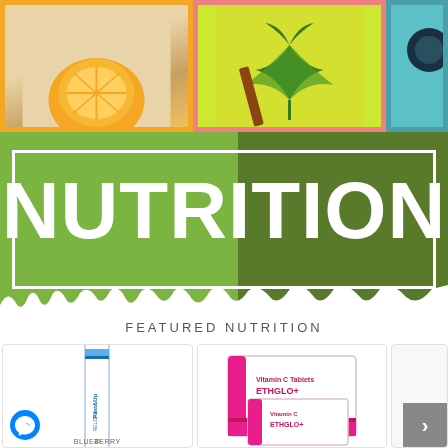[Figure (photo): Row of three product/ingredient photos: orange fruit on linen, cannabis leaf on yellow background, teal background with object]
NUTRITION
FEATURED NUTRITION
[Figure (photo): Fast&Up Reload effervescent tablet tube, 20 tablets, blueberry flavour]
[Figure (photo): Ethglo+ Vitamin C Tablet product box, pink and white packaging]